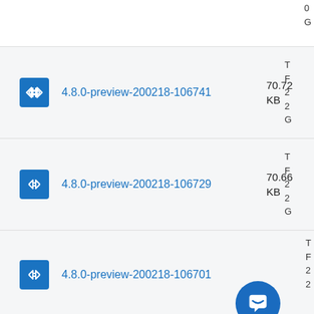0
G
4.8.0-preview-200218-106741 70.72 KB
T
F
2
2
G
4.8.0-preview-200218-106729 70.66 KB
T
F
2
2
G
4.8.0-preview-200218-106701
T
F
2
2